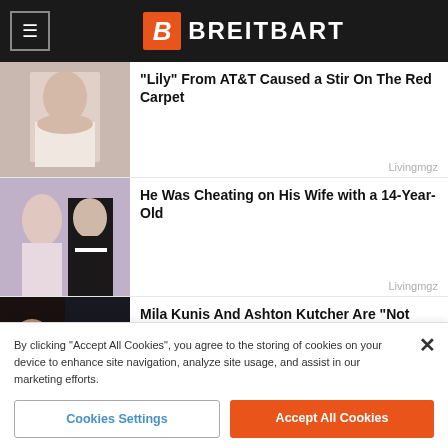BREITBART
"Lily" From AT&T Caused a Stir On The Red Carpet
Livingmgz
He Was Cheating on His Wife with a 14-Year-Old
Livingmgz
Mila Kunis And Ashton Kutcher Are "Not Doing Well"
Freshedits
Harry Potter Star Is Probably The Prettiest Woman In The World
Bridesblush
By clicking "Accept All Cookies", you agree to the storing of cookies on your device to enhance site navigation, analyze site usage, and assist in our marketing efforts.
Cookies Settings
Accept All Cookies